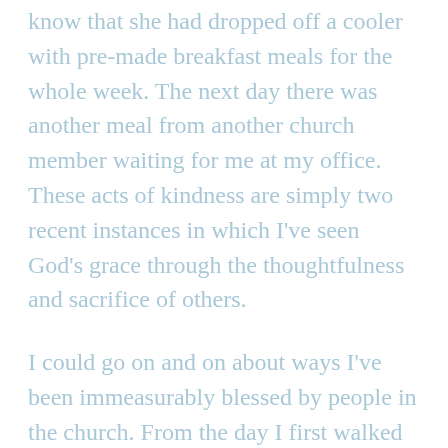know that she had dropped off a cooler with pre-made breakfast meals for the whole week. The next day there was another meal from another church member waiting for me at my office. These acts of kindness are simply two recent instances in which I've seen God's grace through the thoughtfulness and sacrifice of others.
I could go on and on about ways I've been immeasurably blessed by people in the church. From the day I first walked into a church at the age of 16, I've been around the most generous, gracious, and loving people I've ever met. None of this is to imply that the church is perfect, but it is to